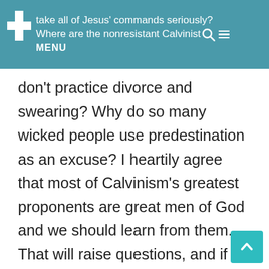take all of Jesus' commands seriously? Where are the nonresistant Calvinist who don't practice divorce and swearing?
don't practice divorce and swearing? Why do so many wicked people use predestination as an excuse? I heartily agree that most of Calvinism's greatest proponents are great men of God and we should learn from them. That will raise questions, and if our views are Biblical, we should have no trouble answering them. But we need dialogue.
I think Calvinism can be dangerous, especially when it's elevated above Scripture. Not all dangerous things are